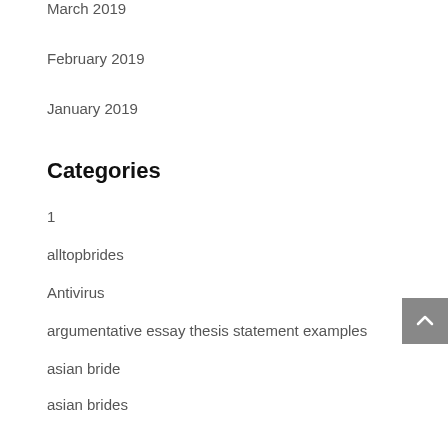March 2019
February 2019
January 2019
Categories
1
alltopbrides
Antivirus
argumentative essay thesis statement examples
asian bride
asian brides
Asian dating
asian dating reviews
Asian Women
asian women for marriage